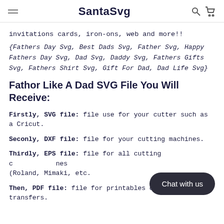SantaSvg
invitations cards, iron-ons, web and more!!
{Fathers Day Svg, Best Dads Svg, Father Svg, Happy Fathers Day Svg, Dad Svg, Daddy Svg, Fathers Gifts Svg, Fathers Shirt Svg, Gift For Dad, Dad Life Svg}
Fathor Like A Dad SVG File You Will Receive:
Firstly, SVG file: file use for your cutter such as a Cricut.
Seconly, DXF file: file for your cutting machines.
Thirdly, EPS file: file for all cutting c...nes (Roland, Mimaki, etc.
Then, PDF file: file for printables or iron on transfers.